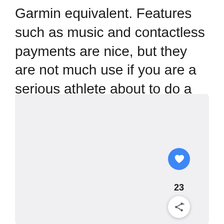Garmin equivalent. Features such as music and contactless payments are nice, but they are not much use if you are a serious athlete about to do a 12-hour event.
[Figure (other): A light gray rectangular placeholder image area with rounded corners. On the right side, there is a blue circular like button with a heart icon showing 23 likes, and below it a white circular share button with a share icon.]